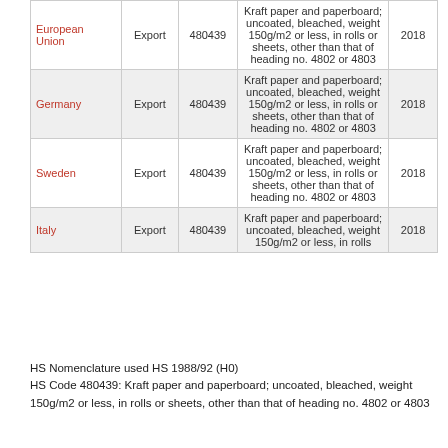| Country | Type | HS Code | Description | Year |
| --- | --- | --- | --- | --- |
| European Union | Export | 480439 | Kraft paper and paperboard; uncoated, bleached, weight 150g/m2 or less, in rolls or sheets, other than that of heading no. 4802 or 4803 | 2018 |
| Germany | Export | 480439 | Kraft paper and paperboard; uncoated, bleached, weight 150g/m2 or less, in rolls or sheets, other than that of heading no. 4802 or 4803 | 2018 |
| Sweden | Export | 480439 | Kraft paper and paperboard; uncoated, bleached, weight 150g/m2 or less, in rolls or sheets, other than that of heading no. 4802 or 4803 | 2018 |
| Italy | Export | 480439 | Kraft paper and paperboard; uncoated, bleached, weight 150g/m2 or less, in rolls… | 2018 |
HS Nomenclature used HS 1988/92 (H0)
HS Code 480439: Kraft paper and paperboard; uncoated, bleached, weight 150g/m2 or less, in rolls or sheets, other than that of heading no. 4802 or 4803